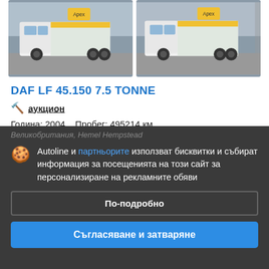[Figure (photo): Two yellow and white Apex trucks/lorries (DAF LF 45.150) parked in a yard, shown side by side in two photos]
DAF LF 45.150 7.5 TONNE
🔨 аукцион
Година: 2004   Пробег: 495214 км
Великобритания, Hemel Hempstead
Autoline и партньорите използват бисквитки и събират информация за посещенията на този сайт за персонализиране на рекламните обяви
По-подробно
Съгласяване и затваряне